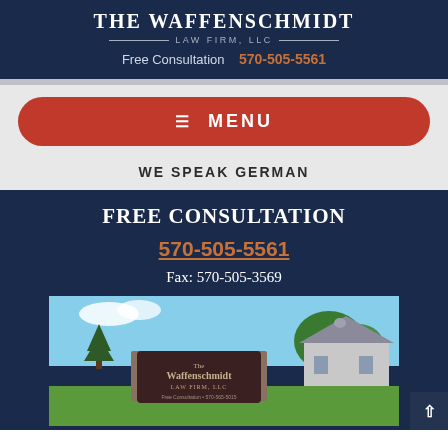THE WAFFENSCHMIDT LAW FIRM, LLC
Free Consultation   570-505-5561
≡ MENU
WE SPEAK GERMAN
FREE CONSULTATION
570-505-5561
Fax: 570-505-3569
[Figure (photo): Exterior photo of The Waffenschmidt Law Firm LLC office building with sign and lawn]